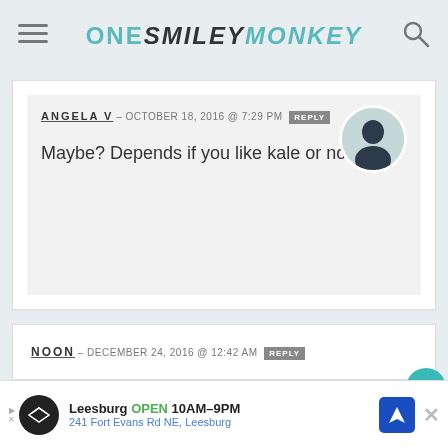ONE SMILEY MONKEY
ANGELA V – OCTOBER 18, 2016 @ 7:29 PM REPLY
Maybe? Depends if you like kale or not 🙂
NOON – DECEMBER 24, 2016 @ 12:42 AM REPLY
Wow, look yummy. In my country, we eat crispy Kale with fried chicken and put
Leesburg OPEN 10AM–9PM
241 Fort Evans Rd NE, Leesburg